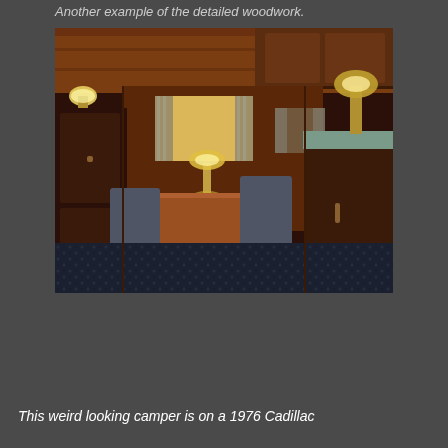Another example of the detailed woodwork.
[Figure (photo): Interior of a custom camper showing detailed woodwork paneling, booth-style seating with a wooden table, lamps on the table and ceiling, curtained windows, and a counter with a decorative lamp on the right side. The floor has dark patterned carpet and the walls, ceiling, and cabinets are all finished in rich dark wood.]
This weird looking camper is on a 1976 Cadillac